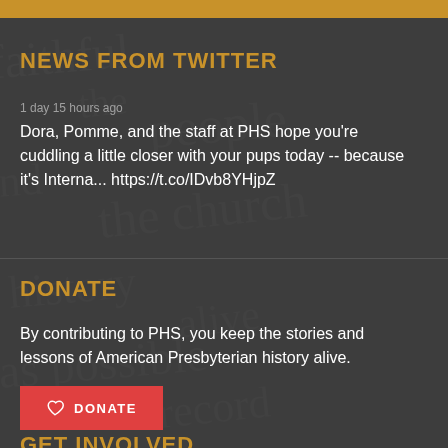NEWS FROM TWITTER
1 day 15 hours ago
Dora, Pomme, and the staff at PHS hope you're cuddling a little closer with your pups today -- because it's Interna... https://t.co/IDvb8YHjpZ
DONATE
By contributing to PHS, you keep the stories and lessons of American Presbyterian history alive.
DONATE
GET INVOLVED